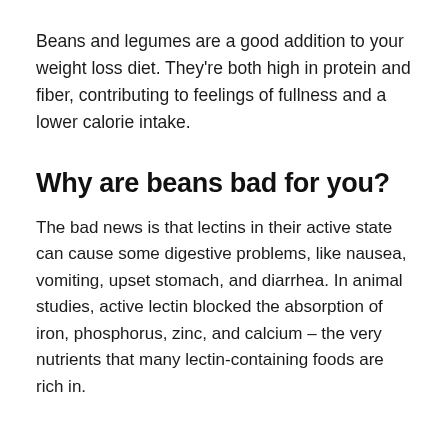Beans and legumes are a good addition to your weight loss diet. They're both high in protein and fiber, contributing to feelings of fullness and a lower calorie intake.
Why are beans bad for you?
The bad news is that lectins in their active state can cause some digestive problems, like nausea, vomiting, upset stomach, and diarrhea. In animal studies, active lectin blocked the absorption of iron, phosphorus, zinc, and calcium – the very nutrients that many lectin-containing foods are rich in.